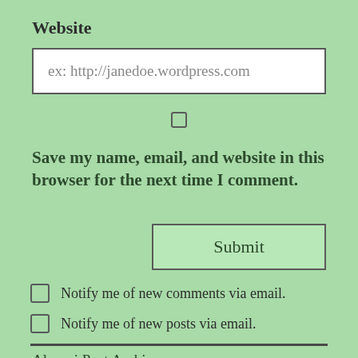Website
ex: http://janedoe.wordpress.com
Save my name, email, and website in this browser for the next time I comment.
Submit
Notify me of new comments via email.
Notify me of new posts via email.
Alumni Post Archives